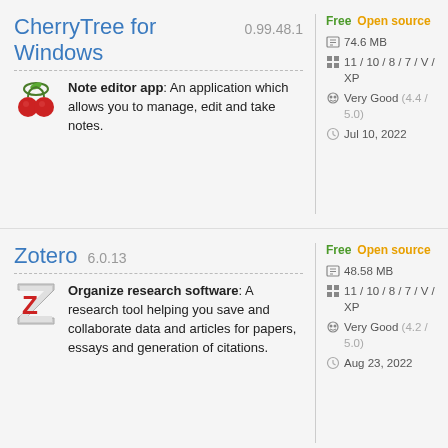CherryTree for Windows 0.99.48.1
Note editor app: An application which allows you to manage, edit and take notes.
Free Open source 74.6 MB 11 / 10 / 8 / 7 / V / XP Very Good (4.4 / 5.0) Jul 10, 2022
Zotero 6.0.13
Organize research software: A research tool helping you save and collaborate data and articles for papers, essays and generation of citations.
Free Open source 48.58 MB 11 / 10 / 8 / 7 / V / XP Very Good (4.2 / 5.0) Aug 23, 2022
EverNote 10.43.7.3598
Free Freemium